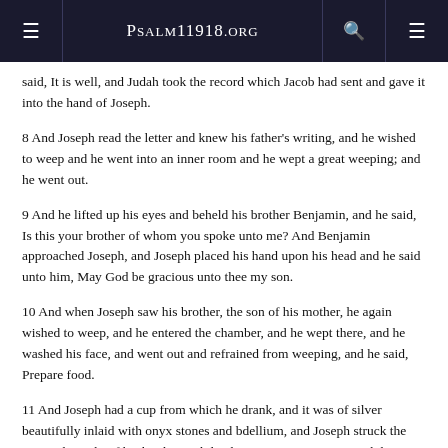Psalm11918.org
said, It is well, and Judah took the record which Jacob had sent and gave it into the hand of Joseph.
8 And Joseph read the letter and knew his father's writing, and he wished to weep and he went into an inner room and he wept a great weeping; and he went out.
9 And he lifted up his eyes and beheld his brother Benjamin, and he said, Is this your brother of whom you spoke unto me? And Benjamin approached Joseph, and Joseph placed his hand upon his head and he said unto him, May God be gracious unto thee my son.
10 And when Joseph saw his brother, the son of his mother, he again wished to weep, and he entered the chamber, and he wept there, and he washed his face, and went out and refrained from weeping, and he said, Prepare food.
11 And Joseph had a cup from which he drank, and it was of silver beautifully inlaid with onyx stones and bdellium, and Joseph struck the cup in the sight of his brethren whilst they were sitting to eat with him.